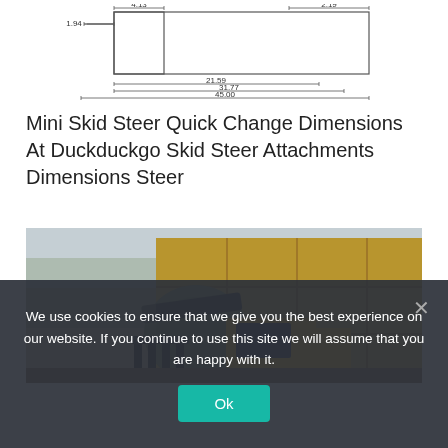[Figure (engineering-diagram): Technical dimension drawing showing measurements: 4.13, 2.19, 1.94, 21.59, 31.77, 45.00]
Mini Skid Steer Quick Change Dimensions At Duckduckgo Skid Steer Attachments Dimensions Steer
[Figure (photo): Photograph of a yellow skid steer loader with a bale spear/grapple attachment holding a large round hay bale, with stacked rectangular hay bales in the background.]
We use cookies to ensure that we give you the best experience on our website. If you continue to use this site we will assume that you are happy with it.